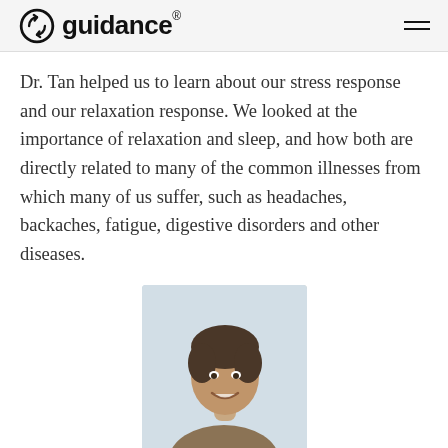guidance.
Dr. Tan helped us to learn about our stress response and our relaxation response. We looked at the importance of relaxation and sleep, and how both are directly related to many of the common illnesses from which many of us suffer, such as headaches, backaches, fatigue, digestive disorders and other diseases.
[Figure (photo): Portrait photo of a smiling middle-aged man with dark hair, wearing a collared shirt, in a light-colored indoor setting.]